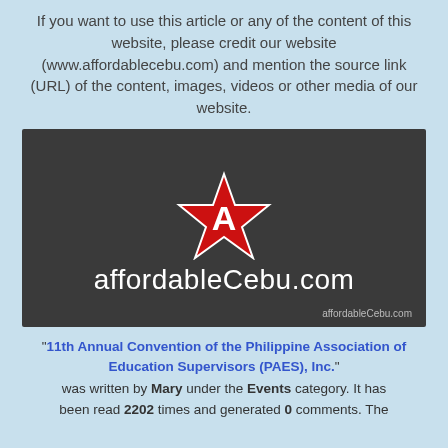If you want to use this article or any of the content of this website, please credit our website (www.affordablecebu.com) and mention the source link (URL) of the content, images, videos or other media of our website.
[Figure (logo): Dark grey rectangular logo box with a red star containing the letter A in white, with the text 'affordableCebu.com' in white below it, and a watermark 'affordableCebu.com' in the bottom right corner.]
"11th Annual Convention of the Philippine Association of Education Supervisors (PAES), Inc." was written by Mary under the Events category. It has been read 2202 times and generated 0 comments. The